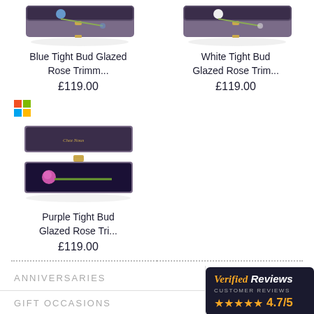[Figure (photo): Blue Tight Bud Glazed Rose in a dark gift box, top view cropped]
[Figure (photo): White Tight Bud Glazed Rose in a dark gift box, top view cropped]
Blue Tight Bud Glazed Rose Trimm...
£119.00
White Tight Bud Glazed Rose Trim...
£119.00
[Figure (logo): Microsoft Windows colorful square logo icon]
[Figure (photo): Purple Tight Bud Glazed Rose in a dark gift box, angled open box view]
Purple Tight Bud Glazed Rose Tri...
£119.00
ANNIVERSARIES
[Figure (logo): Verified Reviews badge logo with customer rating 4.7/5]
GIFT OCCASIONS